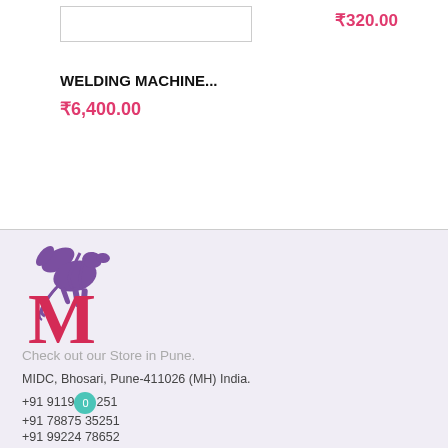[Figure (other): Empty product image placeholder box]
₹320.00
WELDING MACHINE...
₹6,400.00
[Figure (logo): Malfah store logo: purple pegasus horse above a large red letter M]
Check out our Store in Pune.
MIDC, Bhosari, Pune-411026 (MH) India.
+91 9119... 251
+91 78875 35251
+91 99224 78652
malfah@yahoo.com